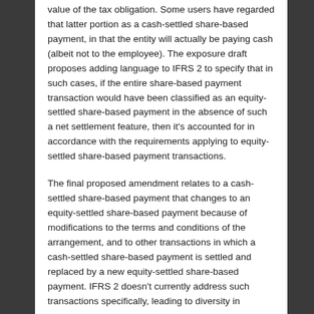value of the tax obligation. Some users have regarded that latter portion as a cash-settled share-based payment, in that the entity will actually be paying cash (albeit not to the employee). The exposure draft proposes adding language to IFRS 2 to specify that in such cases, if the entire share-based payment transaction would have been classified as an equity-settled share-based payment in the absence of such a net settlement feature, then it's accounted for in accordance with the requirements applying to equity-settled share-based payment transactions.
The final proposed amendment relates to a cash-settled share-based payment that changes to an equity-settled share-based payment because of modifications to the terms and conditions of the arrangement, and to other transactions in which a cash-settled share-based payment is settled and replaced by a new equity-settled share-based payment. IFRS 2 doesn't currently address such transactions specifically, leading to diversity in